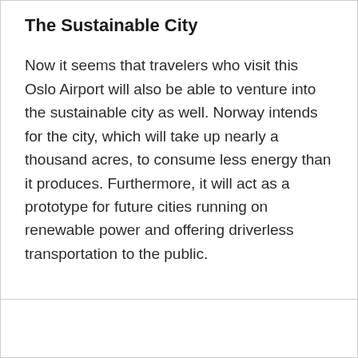The Sustainable City
Now it seems that travelers who visit this Oslo Airport will also be able to venture into the sustainable city as well. Norway intends for the city, which will take up nearly a thousand acres, to consume less energy than it produces. Furthermore, it will act as a prototype for future cities running on renewable power and offering driverless transportation to the public.